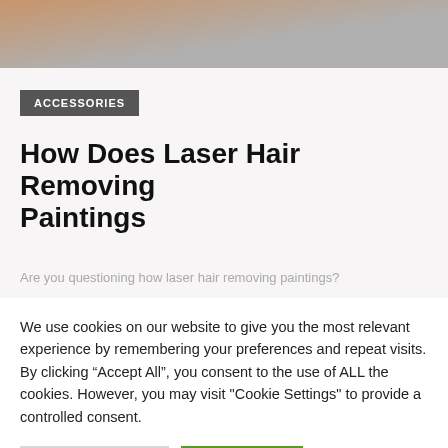[Figure (photo): Partial photo showing skin tone and gray background, cropped at top]
ACCESSORIES
How Does Laser Hair Removing Paintings
Are you questioning how laser hair removing paintings?
We use cookies on our website to give you the most relevant experience by remembering your preferences and repeat visits. By clicking “Accept All”, you consent to the use of ALL the cookies. However, you may visit "Cookie Settings" to provide a controlled consent.
Cookie Settings | Accept All